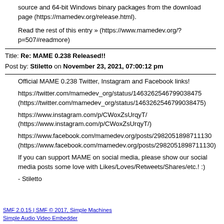source and 64-bit Windows binary packages from the download page (https://mamedev.org/release.html).
Read the rest of this entry » (https://www.mamedev.org/?p=507#readmore)
Title: Re: MAME 0.238 Released!!
Post by: Stiletto on November 23, 2021, 07:00:12 pm
Official MAME 0.238 Twitter, Instagram and Facebook links!

https://twitter.com/mamedev_org/status/1463262546799038475 (https://twitter.com/mamedev_org/status/1463262546799038475)

https://www.instagram.com/p/CWoxZsUrqyT/ (https://www.instagram.com/p/CWoxZsUrqyT/)

https://www.facebook.com/mamedev.org/posts/2982051898711130 (https://www.facebook.com/mamedev.org/posts/2982051898711130)

If you can support MAME on social media, please show our social media posts some love with Likes/Loves/Retweets/Shares/etc.! :)

- Stiletto
SMF 2.0.15 | SMF © 2017, Simple Machines
Simple Audio Video Embedder